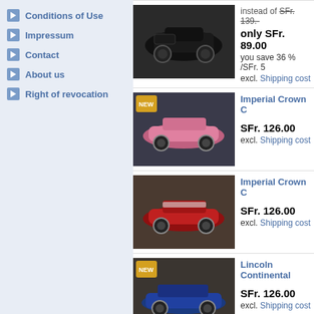Conditions of Use
Impressum
Contact
About us
Right of revocation
[Figure (photo): Black vintage model car on dark background, sale item. instead of SFr. 139.-, only SFr. 89.00, you save 36% /SFr. excl. Shipping cost]
[Figure (photo): Imperial Crown C - pink convertible model car. SFr. 126.00 excl. Shipping cost]
[Figure (photo): Imperial Crown C - red convertible model car. SFr. 126.00 excl. Shipping cost]
[Figure (photo): Lincoln Continental - blue model car. SFr. 126.00 excl. Shipping cost]
[Figure (photo): Lincoln Town car - dark grey/silver hearse model car. SFr. 145.00 excl. Shipping cost]
[Figure (photo): Mercedes Benz 1... (partially visible)]